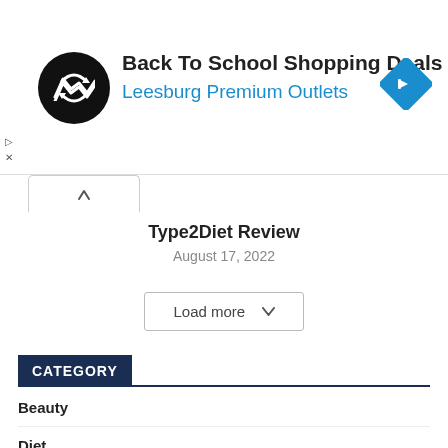[Figure (infographic): Ad banner: Back To School Shopping Deals at Leesburg Premium Outlets with logo and arrow icon]
Type2Diet Review
August 17, 2022
Load more
CATEGORY
Beauty
Diet
Fitness
Food